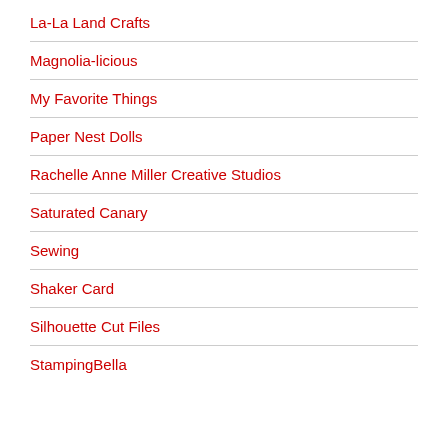La-La Land Crafts
Magnolia-licious
My Favorite Things
Paper Nest Dolls
Rachelle Anne Miller Creative Studios
Saturated Canary
Sewing
Shaker Card
Silhouette Cut Files
StampingBella